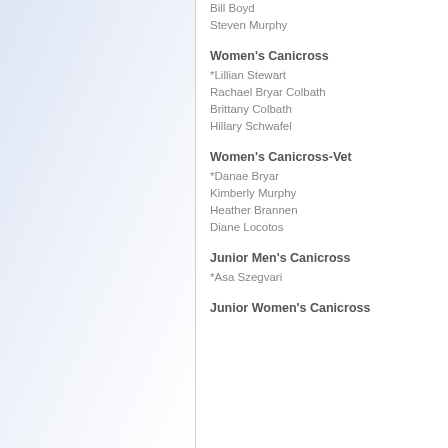Bill Boyd
Steven Murphy
Women's Canicross
*Lillian Stewart
Rachael Bryar Colbath
Brittany Colbath
Hillary Schwafel
Women's Canicross-Vet
*Danae Bryar
Kimberly Murphy
Heather Brannen
Diane Locotos
Junior Men's Canicross
*Asa Szegvari
Junior Women's Canicross